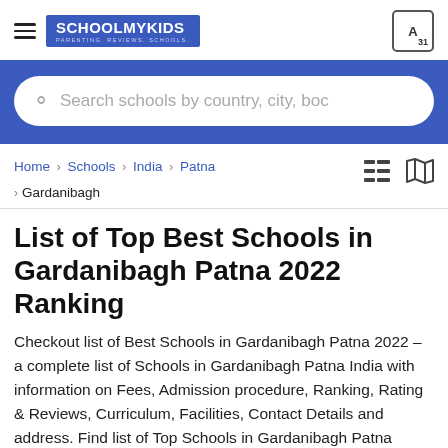SCHOOLMYKIDS — PARENTING. REVIEWS. SCHOOLS.
Search schools by country, city, boc
Home › Schools › India › Patna › Gardanibagh
List of Top Best Schools in Gardanibagh Patna 2022 Ranking
Checkout list of Best Schools in Gardanibagh Patna 2022 – a complete list of Schools in Gardanibagh Patna India with information on Fees, Admission procedure, Ranking, Rating & Reviews, Curriculum, Facilities, Contact Details and address. Find list of Top Schools in Gardanibagh Patna which are CBSE, ICSE, CIE Cambridge, IB and state affiliated